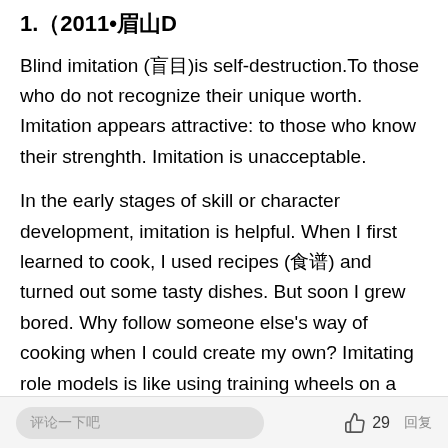1.（2011•眉山D
Blind imitation (盲目)is self-destruction.To those who do not recognize their unique worth. Imitation appears attractive: to those who know their strenghth. Imitation is unacceptable.
In the early stages of skill or character development, imitation is helpful. When I first learned to cook, I used recipes (食谱) and turned out some tasty dishes. But soon I grew bored. Why follow someone else's way of cooking when I could create my own? Imitating role models is like using training wheels on a child's bicycle; they help you get going, but once you find your own balance, you
（评论） 👍 29 回复